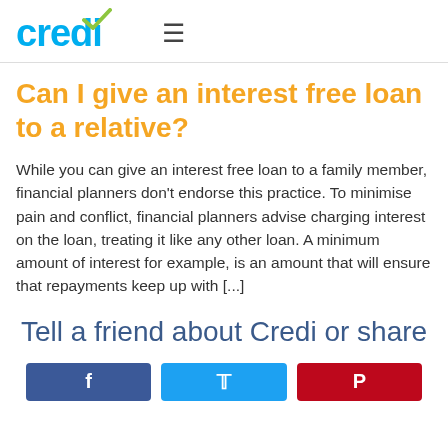[Figure (logo): Credi logo in cyan/blue with a green checkmark above the letter i]
Can I give an interest free loan to a relative?
While you can give an interest free loan to a family member, financial planners don't endorse this practice. To minimise pain and conflict, financial planners advise charging interest on the loan, treating it like any other loan. A minimum amount of interest for example, is an amount that will ensure that repayments keep up with [...]
Tell a friend about Credi or share